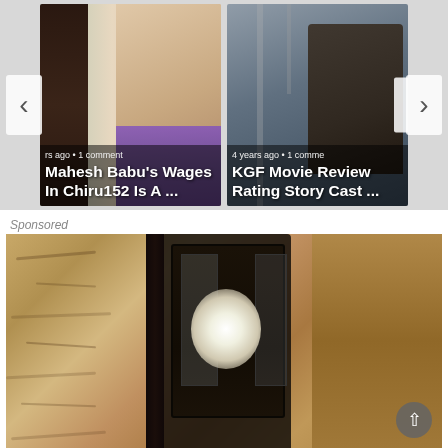[Figure (screenshot): Carousel widget showing two movie article cards with navigation arrows. Left card: Mahesh Babu's Wages In Chiru152 Is A ... (rs ago • 1 comment). Right card: KGF Movie Review Rating Story Cast ... (4 years ago • 1 comment).]
Sponsored
[Figure (photo): Sponsored advertisement image showing a close-up of an outdoor wall lantern/light fixture mounted on a textured stone or stucco wall. The lantern has a dark metal frame with glass panels and a visible bulb.]